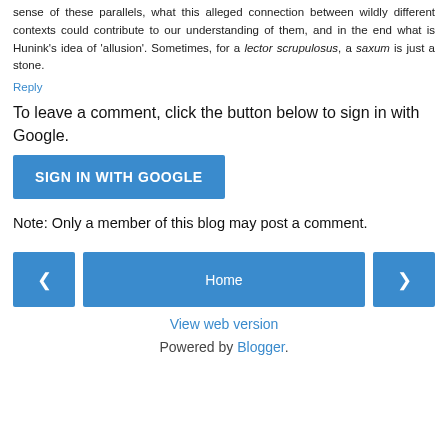sense of these parallels, what this alleged connection between wildly different contexts could contribute to our understanding of them, and in the end what is Hunink's idea of 'allusion'. Sometimes, for a lector scrupulosus, a saxum is just a stone.
Reply
To leave a comment, click the button below to sign in with Google.
[Figure (other): Blue button labeled SIGN IN WITH GOOGLE]
Note: Only a member of this blog may post a comment.
[Figure (other): Navigation bar with left arrow button, Home button, and right arrow button]
View web version
Powered by Blogger.